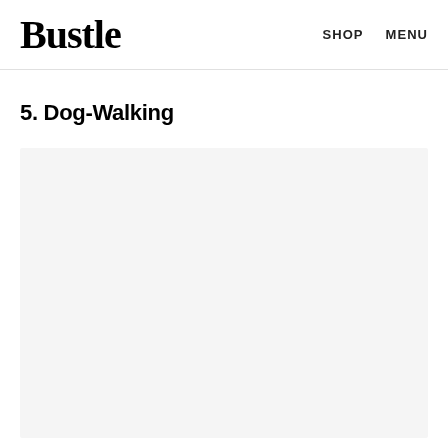Bustle  SHOP  MENU
5. Dog-Walking
[Figure (photo): Large light gray placeholder image area below the Dog-Walking heading]